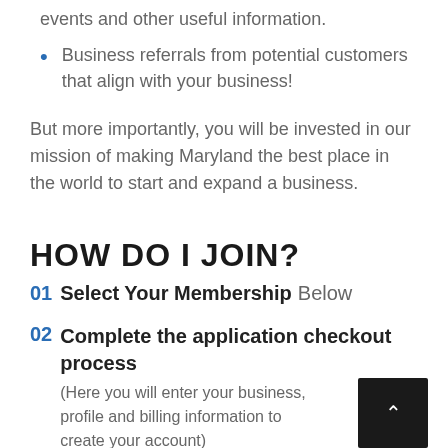events and other useful information.
Business referrals from potential customers that align with your business!
But more importantly, you will be invested in our mission of making Maryland the best place in the world to start and expand a business.
HOW DO I JOIN?
01 Select Your Membership Below
02 Complete the application checkout process
(Here you will enter your business, profile and billing information to create your account)